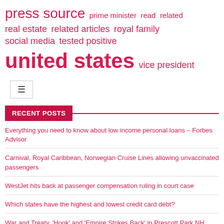press source  prime minister  read  related  real estate  related articles  royal family  social media  tested positive  united states  vice president
[Figure (other): Hamburger menu button icon]
RECENT POSTS
Everything you need to know about low income personal loans – Forbes Advisor
Carnival, Royal Caribbean, Norwegian Cruise Lines allowing unvaccinated passengers
WestJet hits back at passenger compensation ruling in court case
Which states have the highest and lowest credit card debt?
War and Treaty, 'Hook' and 'Empire Strikes Back' in Prescott Park NH